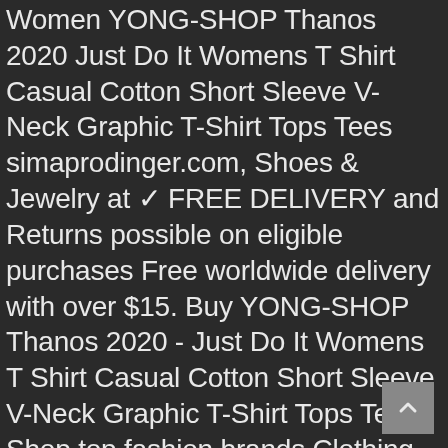Women YONG-SHOP Thanos 2020 Just Do It Womens T Shirt Casual Cotton Short Sleeve V-Neck Graphic T-Shirt Tops Tees simaprodinger.com, Shoes & Jewelry at ✓ FREE DELIVERY and Returns possible on eligible purchases Free worldwide delivery with over $15. Buy YONG-SHOP Thanos 2020 - Just Do It Womens T Shirt Casual Cotton Short Sleeve V-Neck Graphic T-Shirt Tops Tees: Shop top fashion brands Clothing Great Quality at Low Prices, YONG-SHOP Thanos 2020 Wholesale prices Just Do It Womens T Shirt Casual Cotton Short Sleeve V-Neck Graphic T-Shirt Tops Tees best price for worldwide free shipping., Free Shipping & EASY Returns Online shopping provides you with exquisite goods. YONG-SHOP Thanos 2020 Just Do It Womens T Shirt Casual Cotton Short Sleeve V-Neck Graphic T-Shirt Tops Tees.